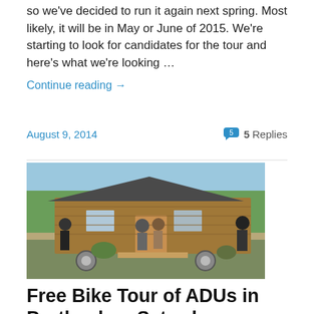so we've decided to run it again next spring. Most likely, it will be in May or June of 2015. We're starting to look for candidates for the tour and here's what we're looking …
Continue reading →
August 9, 2014
5 Replies
[Figure (photo): People gathered outside a small wooden tiny house on wheels with a metal roof, surrounded by greenery.]
Free Bike Tour of ADUs in Portland on Saturday